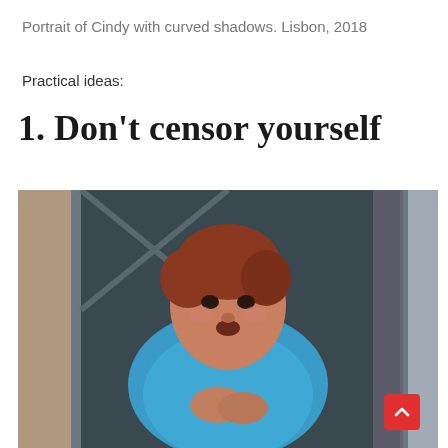Portrait of Cindy with curved shadows. Lisbon, 2018
Practical ideas:
1. Don't censor yourself
[Figure (photo): Photograph of an elderly woman with short reddish hair, wearing a bright blue long-sleeve shirt, leaning forward with hands clasped together, framed by a window or doorway with dark metal frames. Taken from a low angle looking up. Lisbon, 2018.]